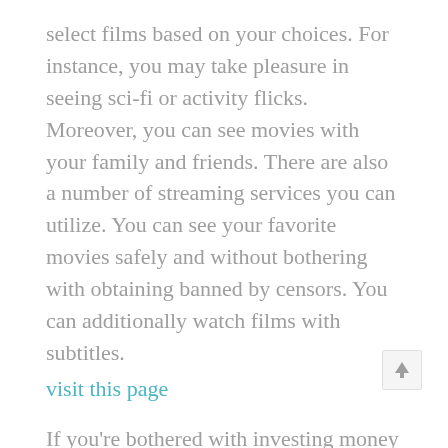select films based on your choices. For instance, you may take pleasure in seeing sci-fi or activity flicks. Moreover, you can see movies with your family and friends. There are also a number of streaming services you can utilize. You can see your favorite movies safely and without bothering with obtaining banned by censors. You can additionally watch films with subtitles.
visit this page
If you're bothered with investing money on streaming, you can try out Hulu. This site lets you stream flicks. Yet it is not as focused as the other flick streaming sites. It needs 1 Mbps net rate. However, higher speed is more effective to avoid buffering. In this manner, you can take pleasure in watching films without investing a great deal of cash. You should also take into consideration how long you plan to invest watching